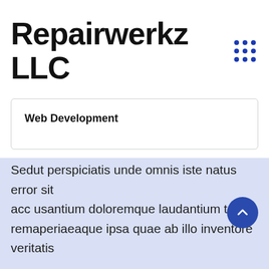Repairwerkz LLC
Web Development
Sedut perspiciatis unde omnis iste natus error sit acc usantium doloremque laudantium totam remaperiaeaque ipsa quae ab illo inventore veritatis